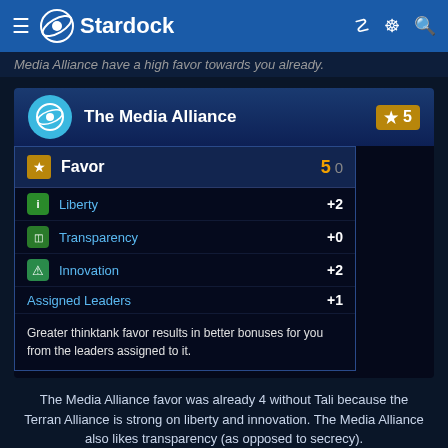Stardock
Media Alliance have a high favor towards you already.
[Figure (screenshot): Game UI screenshot showing The Media Alliance thinktank panel with Favor score of 5, showing Liberty +2, Transparency +0, Innovation +2, Assigned Leaders +1, and tooltip text about thinktank favor resulting in better bonuses from assigned leaders.]
The Media Alliance favor was already 4 without Tali because the Terran Alliance is strong on liberty and innovation.  The Media Alliance also likes transparency (as opposed to secrecy).